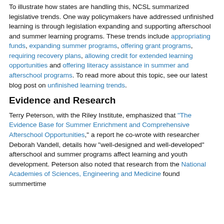To illustrate how states are handling this, NCSL summarized legislative trends. One way policymakers have addressed unfinished learning is through legislation expanding and supporting afterschool and summer learning programs. These trends include appropriating funds, expanding summer programs, offering grant programs, requiring recovery plans, allowing credit for extended learning opportunities and offering literacy assistance in summer and afterschool programs. To read more about this topic, see our latest blog post on unfinished learning trends.
Evidence and Research
Terry Peterson, with the Riley Institute, emphasized that "The Evidence Base for Summer Enrichment and Comprehensive Afterschool Opportunities," a report he co-wrote with researcher Deborah Vandell, details how "well-designed and well-developed" afterschool and summer programs affect learning and youth development. Peterson also noted that research from the National Academies of Sciences, Engineering and Medicine found summertime